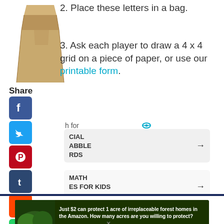[Figure (illustration): Brown paper bag illustration]
Share
[Figure (illustration): Social media share icons: Facebook, Twitter, Pinterest, Tumblr, Reddit, WhatsApp]
2. Place these letters in a bag.
3. Ask each player to draw a 4 x 4 grid on a piece of paper, or use our printable form.
h for
CIAL
ABBLE
RDS
MATH
ES FOR KIDS
[Figure (illustration): Advertisement banner: Just $2 can protect 1 acre of irreplaceable forest homes in the Amazon. How many acres are you willing to protect? PROTECT FORESTS NOW]